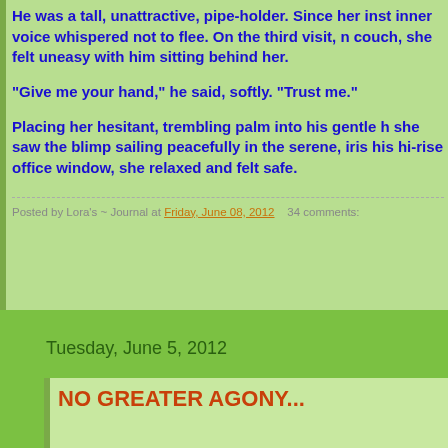He was a tall, unattractive, pipe-holder. Since her inst inner voice whispered not to flee. On the third visit, n couch, she felt uneasy with him sitting behind her.

"Give me your hand," he said, softly. "Trust me."

Placing her hesitant, trembling palm into his gentle h she saw the blimp sailing peacefully in the serene, iris his hi-rise office window, she relaxed and felt safe.
Posted by Lora's ~ Journal at Friday, June 08, 2012    34 comments:
Tuesday, June 5, 2012
NO GREATER AGONY...